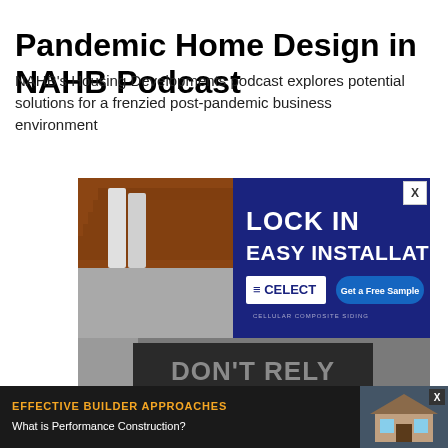Pandemic Home Design in NAHB Podcast
NAHB's Housing Developments podcast explores potential solutions for a frenzied post-pandemic business environment
[Figure (other): Advertisement for Celect Cellular Composite Siding showing roofline with text 'LOCK IN EASY INSTALLATION.' and button 'Get a Free Sample']
[Figure (other): Advertisement showing dark background with large text 'DON'T RELY ON ORDINARY, SPRAY ON']
[Figure (other): Bottom banner advertisement for Effective Builder Approaches: What is Performance Construction? with house image]